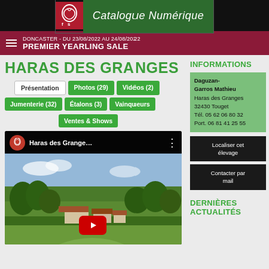Catalogue Numérique
DONCASTER - DU 23/08/2022 AU 24/08/2022
PREMIER YEARLING SALE
HARAS DES GRANGES
Présentation
Photos (29)
Vidéos (2)
Jumenterie (32)
Étalons (3)
Vainqueurs
Ventes & Shows
[Figure (screenshot): YouTube video thumbnail for Haras des Granges showing an aerial view of the farm with green fields and buildings]
INFORMATIONS
Daguzan-Garros Mathieu
Haras des Granges
32430 Touget
Tél. 05 62 06 80 32
Port. 06 81 41 25 55
Localiser cet élevage
Contacter par mail
DERNIÈRES ACTUALITIES